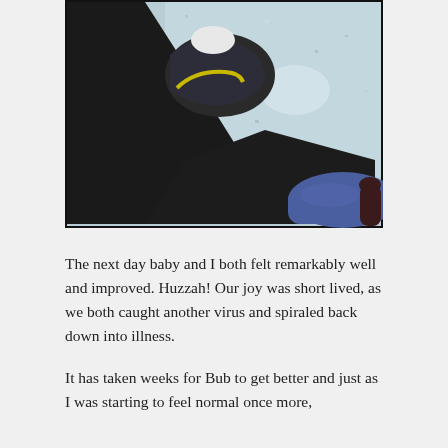[Figure (photo): Close-up downward view of a person's legs in black pants with a sneaker visible (dark shoe with yellow accent, white sock), and a blue seat/chair arm visible in the lower right corner. Background shows a light-colored speckled floor.]
The next day baby and I both felt remarkably well and improved. Huzzah! Our joy was short lived, as we both caught another virus and spiraled back down into illness.
It has taken weeks for Bub to get better and just as I was starting to feel normal once more,